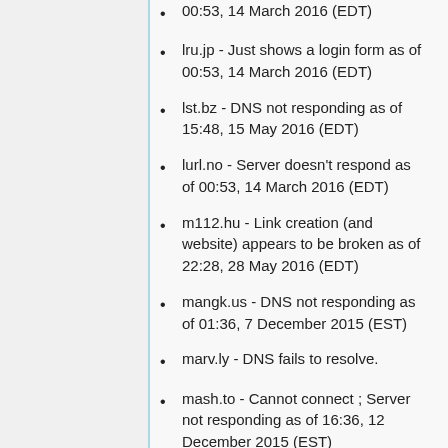00:53, 14 March 2016 (EDT)
lru.jp - Just shows a login form as of 00:53, 14 March 2016 (EDT)
lst.bz - DNS not responding as of 15:48, 15 May 2016 (EDT)
lurl.no - Server doesn't respond as of 00:53, 14 March 2016 (EDT)
m112.hu - Link creation (and website) appears to be broken as of 22:28, 28 May 2016 (EDT)
mangk.us - DNS not responding as of 01:36, 7 December 2015 (EST)
marv.ly - DNS fails to resolve.
mash.to - Cannot connect ; Server not responding as of 16:36, 12 December 2015 (EST)
me.lt - Connection refused.
me2.hu - DNS error as of 22:28, 28 May 2016 (EDT)
momurl.com - Pronounceable